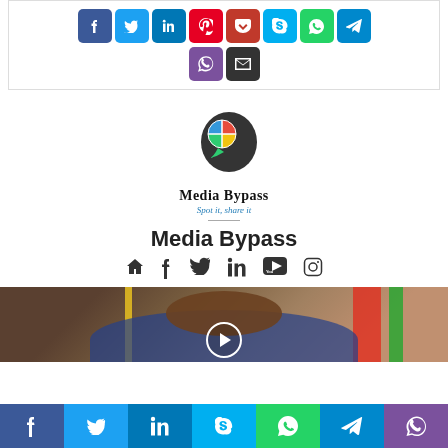[Figure (other): Social share buttons row with Facebook, Twitter, LinkedIn, Pinterest, Pocket, Skype, WhatsApp, Telegram icons, plus Viber and Email below]
[Figure (logo): Media Bypass logo with colorful chat bubble head icon and tagline 'Spot it, share it']
Media Bypass
[Figure (other): Row of social media icon links: home, facebook, twitter, linkedin, youtube, instagram]
[Figure (photo): Partial photo of a person in front of flags, with a play button overlay circle]
[Figure (other): Bottom bar with social share buttons: Facebook, Twitter, LinkedIn, Skype, WhatsApp, Telegram, Viber]